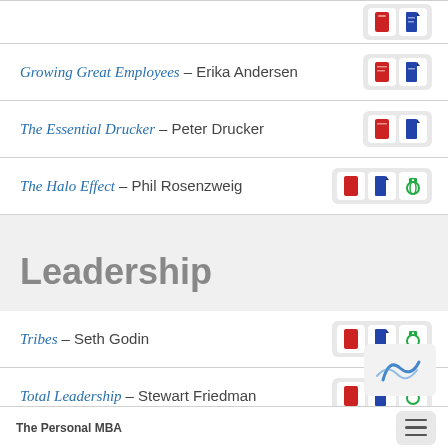Growing Great Employees – Erika Andersen
The Essential Drucker – Peter Drucker
The Halo Effect – Phil Rosenzweig
Leadership
Tribes – Seth Godin
Total Leadership – Stewart Friedman
What Got You Here Won't Get You There – Marshall G...
The Personal MBA